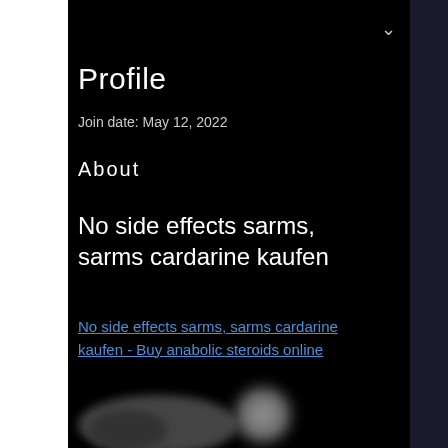Profile
Join date: May 12, 2022
About
No side effects sarms, sarms cardarine kaufen
No side effects sarms, sarms cardarine kaufen - Buy anabolic steroids online
[Figure (photo): Blurred image of supplements or related items, heavily blurred for privacy or obfuscation]